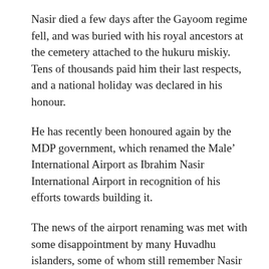Nasir died a few days after the Gayoom regime fell, and was buried with his royal ancestors at the cemetery attached to the hukuru miskiy. Tens of thousands paid him their last respects, and a national holiday was declared in his honour.
He has recently been honoured again by the MDP government, which renamed the Male’ International Airport as Ibrahim Nasir International Airport in recognition of his efforts towards building it.
The news of the airport renaming was met with some disappointment by many Huvadhu islanders, some of whom still remember Nasir as the man who tore their families apart. Sounds of gunfire are still fresh in their memories.
Humiliating scenes of men being forced to step off